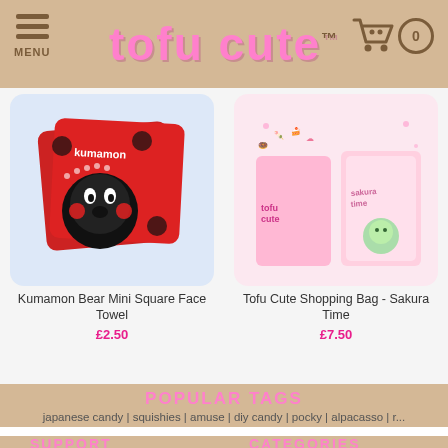MENU | tofu cute™
[Figure (photo): Kumamon Bear Mini Square Face Towel product photo on blue-tinted background]
Kumamon Bear Mini Square Face Towel
£2.50
[Figure (photo): Tofu Cute Shopping Bag - Sakura Time product photo on pink background]
Tofu Cute Shopping Bag - Sakura Time
£7.50
POPULAR TAGS
japanese candy | squishies | amuse | diy candy | pocky | alpacasso | r...
SUPPORT
Delivery
Help & Info
Contact Us
Tofu Cute Blog
Tomodachi Members
CATEGORIES
New products
Japanese snacks
AMUSE plush
Kawaii lifestyle
Veggie products